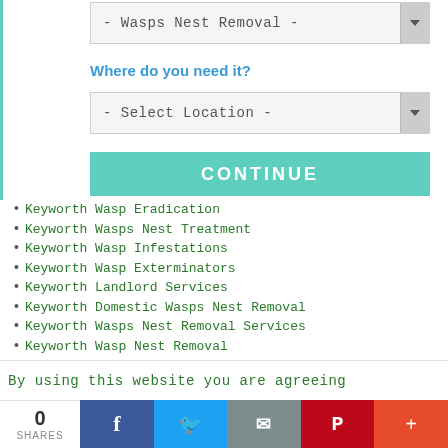[Figure (screenshot): Dropdown selector showing '- Wasps Nest Removal -' option]
Where do you need it?
[Figure (screenshot): Dropdown selector showing '- Select Location -' option]
[Figure (screenshot): CONTINUE button in teal/green color]
Keyworth Wasp Eradication
Keyworth Wasps Nest Treatment
Keyworth Wasp Infestations
Keyworth Wasp Exterminators
Keyworth Landlord Services
Keyworth Domestic Wasps Nest Removal
Keyworth Wasps Nest Removal Services
Keyworth Wasp Nest Removal
Keyworth Wasp Extermination
Keyworth Wasp Killers
Keyworth Wasp Removal
Keyworth Wasps Nest Removal
Keyworth Wasps Nest Removal Quotes
By using this website you are agreeing
0 SHARES | Facebook | Twitter | Email | Pinterest | More